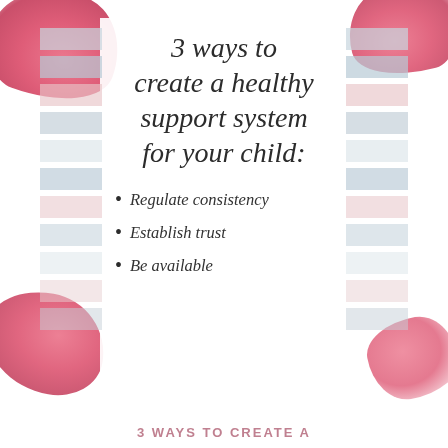3 ways to create a healthy support system for your child:
Regulate consistency
Establish trust
Be available
3 WAYS TO CREATE A